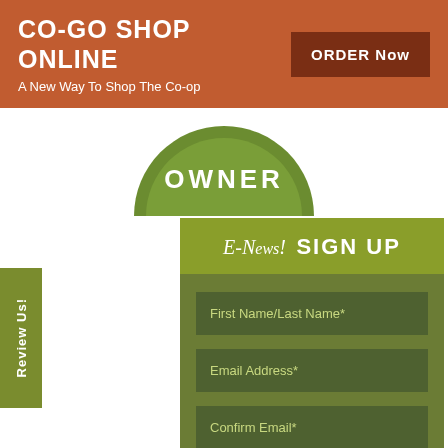CO-GO SHOP ONLINE
A New Way To Shop The Co-op
[Figure (logo): Circular green badge with text 'OWNER' partially visible at top center]
Review Us!
E-News! SIGN UP
First Name/Last Name*
Email Address*
Confirm Email*
Submit